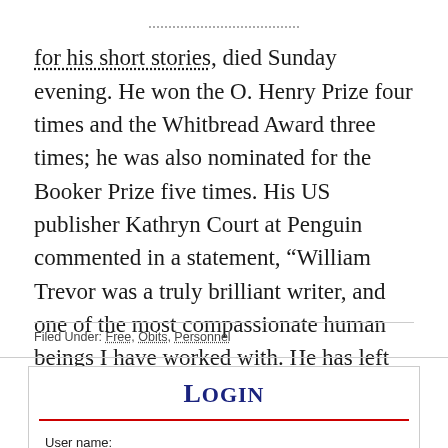for his short stories, died Sunday evening. He won the O. Henry Prize four times and the Whitbread Award three times; he was also nominated for the Booker Prize five times. His US publisher Kathryn Court at Penguin commented in a statement, “William Trevor was a truly brilliant writer, and one of the most compassionate human beings I have worked with. He has left us a wonderful legacy.”
Filed Under: Free, Obits, Personnel
Login
User name: